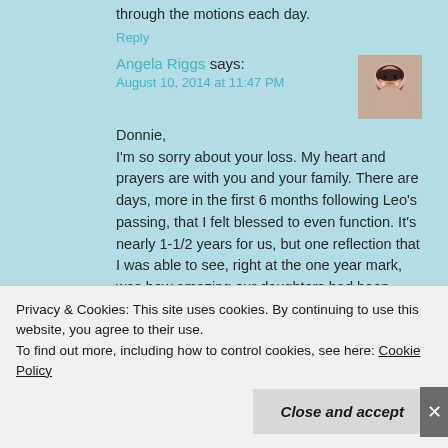through the motions each day.
Reply
Angela Riggs says:
August 10, 2014 at 11:47 PM
[Figure (photo): Profile photo of Angela Riggs, a woman with dark hair and earrings]
Donnie,
I'm so sorry about your loss. My heart and prayers are with you and your family. There are days, more in the first 6 months following Leo's passing, that I felt blessed to even function. It's nearly 1-1/2 years for us, but one reflection that I was able to see, right at the one year mark, was how amazing our daughters had been during our deepest grief. They were so patient, understanding, and forgiving of our numbness. I hope the guilt isn't too
Privacy & Cookies: This site uses cookies. By continuing to use this website, you agree to their use.
To find out more, including how to control cookies, see here: Cookie Policy
Close and accept